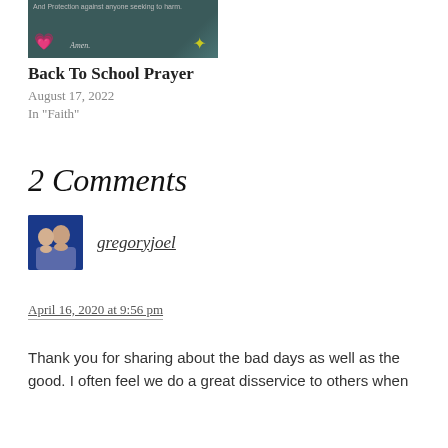[Figure (photo): Thumbnail image for Back To School Prayer post with dark teal background, pink heart, star, and 'Amen' text]
Back To School Prayer
August 17, 2022
In "Faith"
2 Comments
[Figure (photo): Avatar photo of gregoryjoel - couple photo with blue background]
gregoryjoel
April 16, 2020 at 9:56 pm
Thank you for sharing about the bad days as well as the good. I often feel we do a great disservice to others when